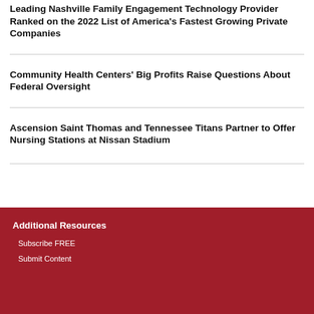Leading Nashville Family Engagement Technology Provider Ranked on the 2022 List of America's Fastest Growing Private Companies
Community Health Centers' Big Profits Raise Questions About Federal Oversight
Ascension Saint Thomas and Tennessee Titans Partner to Offer Nursing Stations at Nissan Stadium
Additional Resources
Subscribe FREE
Submit Content